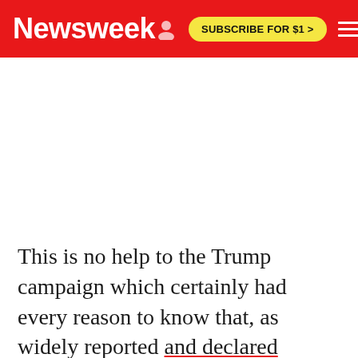Newsweek  SUBSCRIBE FOR $1 >
This is no help to the Trump campaign which certainly had every reason to know that, as widely reported and declared officially by the